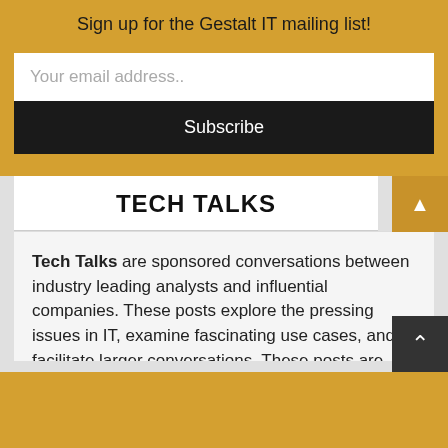Sign up for the Gestalt IT mailing list!
Your email address..
Subscribe
TECH TALKS
Tech Talks are sponsored conversations between industry leading analysts and influential companies. These posts explore the pressing issues in IT, examine fascinating use cases, and facilitate larger conversations. These posts are written by our network of independent IT influencers according to topics selected by the sponsoring companies. Gestalt IT and these writers are paid by the company indicated in